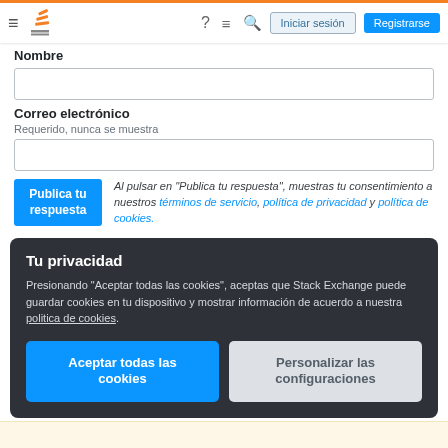Stack Exchange navigation bar with hamburger menu, logo, help, chat, search icons, Iniciar sesión and Registrarse buttons
Nombre
Correo electrónico
Requerido, nunca se muestra
Publica tu respuesta | Al pulsar en "Publica tu respuesta", muestras tu consentimiento a nuestros términos de servicio, política de privacidad y política de cookies.
Tu privacidad
Presionando "Aceptar todas las cookies", aceptas que Stack Exchange puede guardar cookies en tu dispositivo y mostrar información de acuerdo a nuestra politica de cookies.
Aceptar todas las cookies
Personalizar las configuraciones